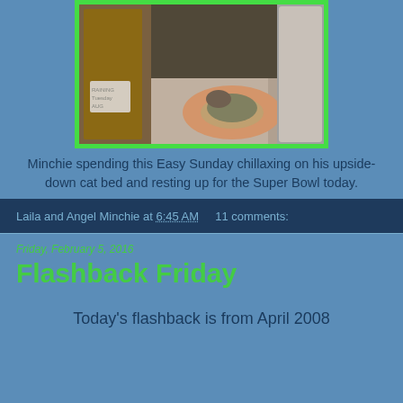[Figure (photo): A cat lying in an upside-down circular cat bed on the floor between a wooden cabinet and a couch, with a green border frame around the photo.]
Minchie spending this Easy Sunday chillaxing on his upside-down cat bed and resting up for the Super Bowl today.
Laila and Angel Minchie at 6:45 AM   11 comments:
Friday, February 5, 2016
Flashback Friday
Today's flashback is from April 2008